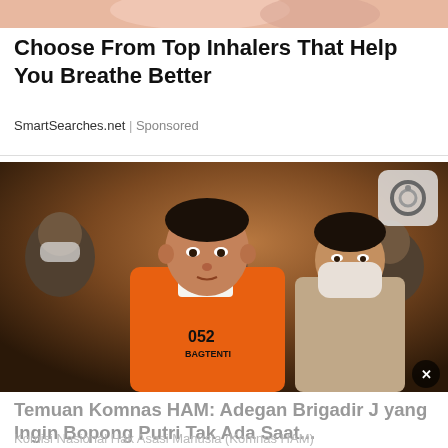[Figure (photo): Cropped top portion of an advertisement image showing a person, pink/skin-tone tones]
Choose From Top Inhalers That Help You Breathe Better
SmartSearches.net | Sponsored
[Figure (photo): News photo showing a man in an orange prisoner jumpsuit numbered 052 BAGTENTI seated next to a woman wearing a white face mask, with other people in the background]
Temuan Komnas HAM: Adegan Brigadir J yang Ingin Bopong Putri Tak Ada Saat...
Komisi Nasional Hak Asasi Manusia (Komnas HAM)